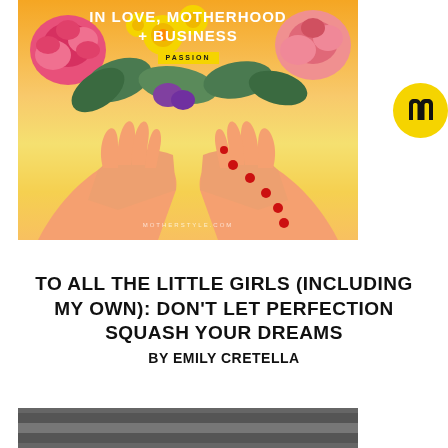[Figure (photo): Decorative photo with hands holding colorful flowers (pink roses, yellow flowers, green leaves) against a warm yellow-orange gradient background, with red berries scattered around. White overlay text reads 'IN LOVE, MOTHERHOOD + BUSINESS' with a yellow 'PASSION' badge. Watermark text 'MOTHERSTYLE.COM' at bottom.]
[Figure (logo): Yellow circle with a black stylized 'm' bee logo on the right side]
TO ALL THE LITTLE GIRLS (INCLUDING MY OWN): DON'T LET PERFECTION SQUASH YOUR DREAMS BY EMILY CRETELLA
[Figure (photo): Partial bottom strip of a second photo, mostly gray/dark]